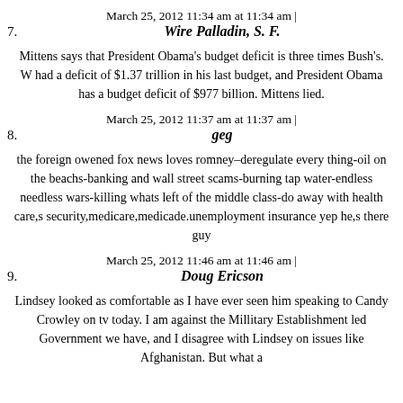March 25, 2012 11:34 am at 11:34 am |
7.	Wire Palladin, S. F.
Mittens says that President Obama's budget deficit is three times Bush's. W had a deficit of $1.37 trillion in his last budget, and President Obama has a budget deficit of $977 billion. Mittens lied.
March 25, 2012 11:37 am at 11:37 am |
8.	geg
the foreign owened fox news loves romney–deregulate every thing-oil on the beachs-banking and wall street scams-burning tap water-endless needless wars-killing whats left of the middle class-do away with health care,s security,medicare,medicade.unemployment insurance yep he,s there guy
March 25, 2012 11:46 am at 11:46 am |
9.	Doug Ericson
Lindsey looked as comfortable as I have ever seen him speaking to Candy Crowley on tv today. I am against the Millitary Establishment led Government we have, and I disagree with Lindsey on issues like Afghanistan. But what a